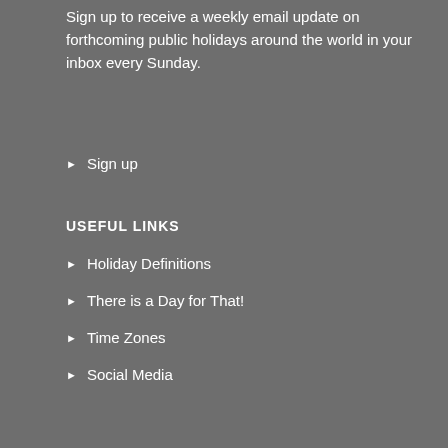Sign up to receive a weekly email update on forthcoming public holidays around the world in your inbox every Sunday.
Sign up
USEFUL LINKS
Holiday Definitions
There is a Day for That!
Time Zones
Social Media
USING THE SITE
Contact Us
Privacy Policy
Terms and Conditions
Cookie Policy